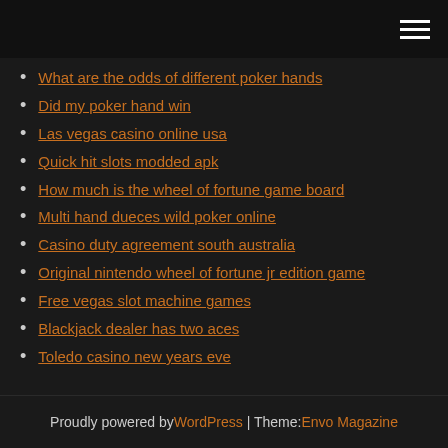[hamburger menu icon]
What are the odds of different poker hands
Did my poker hand win
Las vegas casino online usa
Quick hit slots modded apk
How much is the wheel of fortune game board
Multi hand dueces wild poker online
Casino duty agreement south australia
Original nintendo wheel of fortune jr edition game
Free vegas slot machine games
Blackjack dealer has two aces
Toledo casino new years eve
Proudly powered by WordPress | Theme: Envo Magazine